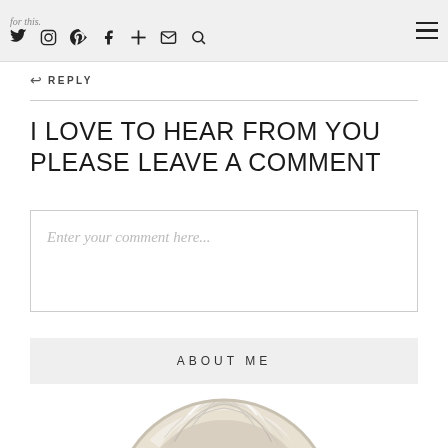for this. [social icons: twitter, instagram, pinterest, facebook, plus, email, search] [hamburger menu]
↩ REPLY
I LOVE TO HEAR FROM YOU PLEASE LEAVE A COMMENT
Enter your comment here...
ABOUT ME
[Figure (photo): Circular cropped photo showing the top of a person's head with white/silver hair, viewed from behind/above, with a light beige background.]